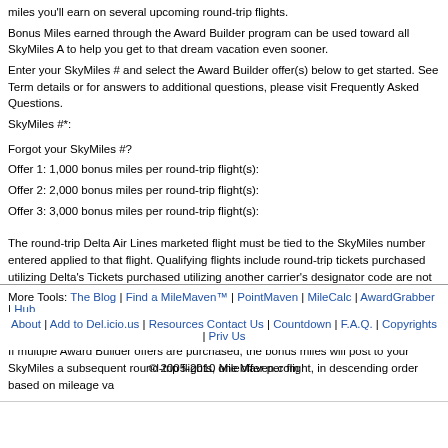miles you'll earn on several upcoming round-trip flights.
Bonus Miles earned through the Award Builder program can be used toward all SkyMiles A to help you get to that dream vacation even sooner.
Enter your SkyMiles # and select the Award Builder offer(s) below to get started. See Term details or for answers to additional questions, please visit Frequently Asked Questions.
SkyMiles #*:
Forgot your SkyMiles #?
Offer 1: 1,000 bonus miles per round-trip flight(s):
Offer 2: 2,000 bonus miles per round-trip flight(s):
Offer 3: 3,000 bonus miles per round-trip flight(s):
The round-trip Delta Air Lines marketed flight must be tied to the SkyMiles number entered applied to that flight. Qualifying flights include round-trip tickets purchased utilizing Delta's Tickets purchased utilizing another carrier's designator code are not eligible, even if opera Connection carrier.
Prices are inclusive of a U.S. federal excise tax, currently seven and one-half percent (7.5
If multiple Award Builder offers are purchased, the bonus miles will post to your SkyMiles a subsequent round-trip flights, one offer per flight, in descending order based on mileage va
More Tools: The Blog | Find a MileMaven™ | PointMaven | MileCalc | AwardGrabber | Hub
About | Add to Del.icio.us | Resources Contact Us | Countdown | F.A.Q. | Copyrights | Priv Us
© 2005-2010 MileMaven.com